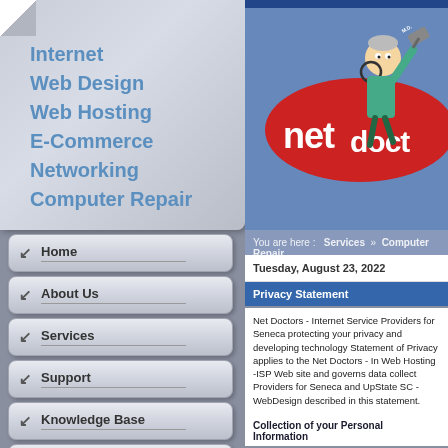Internet
Web Design
Web Hosting
E-Commerce
Networking
Computer Repair
[Figure (illustration): Net Doctors logo with cartoon doctor character holding a hammer on a red oval background with 'net doctors' text]
Home
About Us
Services
Support
Knowledge Base
Contact Us
You are here :   Services   »   Computer Repair
Tuesday, August 23, 2022
Privacy Statement
Net Doctors - Internet Service Providers for Seneca protecting your privacy and developing technology Statement of Privacy applies to the Net Doctors - In Web Hosting -ISP Web site and governs data collect Providers for Seneca and UpState SC - WebDesign described in this statement.
Collection of your Personal Information